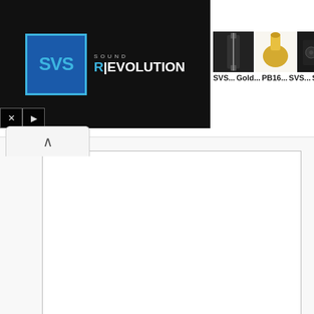[Figure (screenshot): SVS Sound Revolution advertisement banner with logo on left and product thumbnails on right showing cables, connectors, subwoofer and accessories labeled SVS..., Gold..., PB16..., SVS..., SVS...]
[Figure (screenshot): Web page UI showing a comment textarea input box with resize handle, followed by form fields for Name *, Email *, and Website]
Name *
Email *
Website